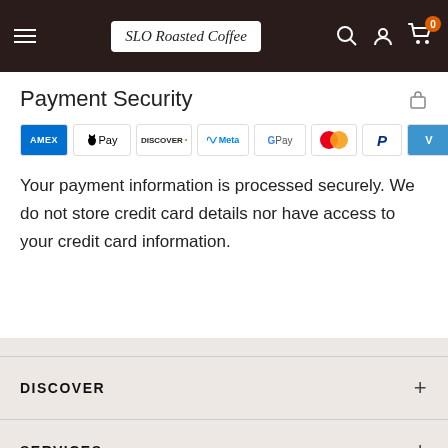SLO Roasted Coffee
Payment Security
[Figure (other): Payment method icons: Amex, Apple Pay, Discover, Meta, Google Pay, Mastercard, PayPal, Venmo, Visa]
Your payment information is processed securely. We do not store credit card details nor have access to your credit card information.
DISCOVER
SERVICES